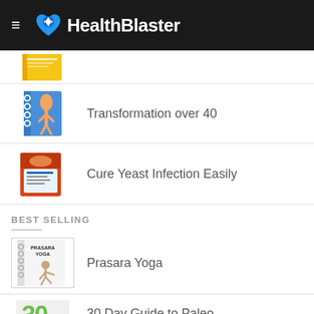HealthBlaster
[Figure (illustration): Book thumbnail - partially visible yellow book cover (top of list)]
Transformation over 40
Cure Yeast Infection Easily
BEST SELLING
Prasara Yoga
30 Day Guide to Paleo